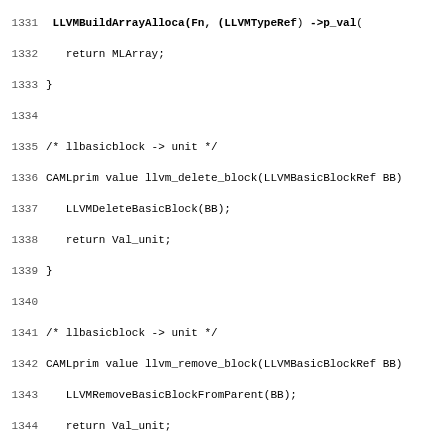Source code listing, lines 1331-1363, C bindings for LLVM basic block operations
[Figure (screenshot): Source code in monospace font showing C functions: llvm_delete_block, llvm_remove_block, llvm_move_block_before, llvm_move_block_after, llvm_append_block with LLVM C API bindings. Line numbers 1331-1363 visible on left margin.]